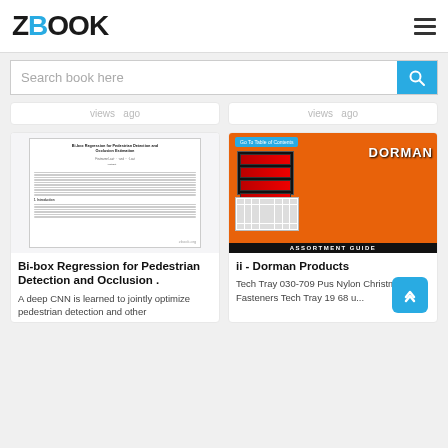ZBOOK
Search book here
views   ago
views   ago
[Figure (screenshot): Thumbnail of a scientific paper titled 'Bi-box Regression for Pedestrian Detection and Occlusion Estimation' with zbook.org watermark]
[Figure (photo): Orange cover of Dorman Products Assortment Guide showing various tool organizer boxes]
Bi-box Regression for Pedestrian Detection and Occlusion .
ii - Dorman Products
A deep CNN is learned to jointly optimize pedestrian detection and other
Tech Tray 030-709 Push Nylon Christmas Tree Fasteners Tech Tray 19 68 u...